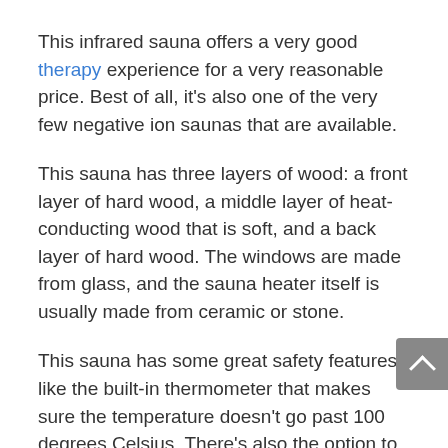This infrared sauna offers a very good therapy experience for a very reasonable price. Best of all, it's also one of the very few negative ion saunas that are available.
This sauna has three layers of wood: a front layer of hard wood, a middle layer of heat-conducting wood that is soft, and a back layer of hard wood. The windows are made from glass, and the sauna heater itself is usually made from ceramic or stone.
This sauna has some great safety features, like the built-in thermometer that makes sure the temperature doesn't go past 100 degrees Celsius. There's also the option to turn on the air purifyer and ventilation.